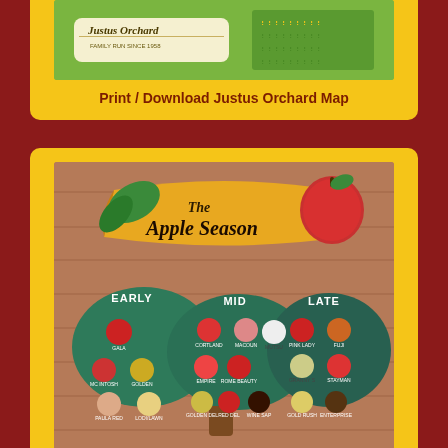[Figure (photo): Justus Orchard map banner image showing the orchard logo and orchard layout]
Print / Download Justus Orchard Map
[Figure (photo): A decorative wooden sign display titled 'The Apple Season' showing apple varieties categorized as Early, Mid, and Late with painted apple images and variety names]
Apple Varieties & Ripening Dates